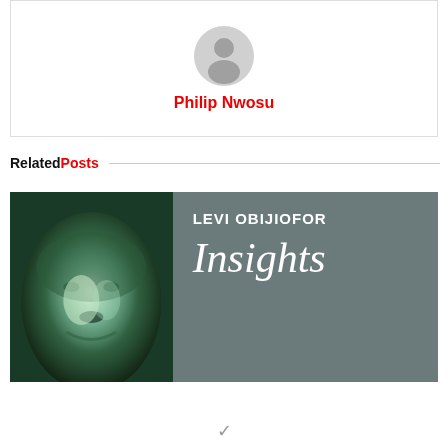[Figure (illustration): Generic user avatar circle with person silhouette icon in grey]
Philip Nwosu
Related Posts
[Figure (photo): Levi Obijiofor Insights banner image with green face illustration on left and grey background with text LEVI OBIJIOFOR Insights on the right]